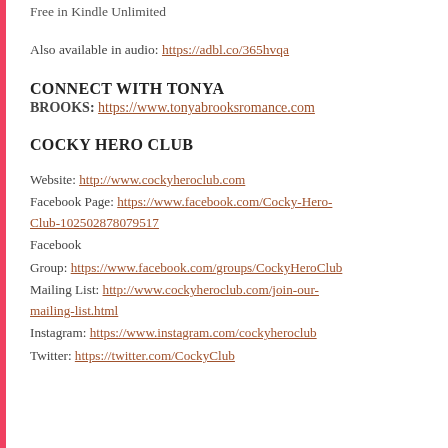Free in Kindle Unlimited
Also available in audio: https://adbl.co/365hvqa
CONNECT WITH TONYA BROOKS: https://www.tonyabrooksromance.com
COCKY HERO CLUB
Website: http://www.cockyheroclub.com
Facebook Page: https://www.facebook.com/Cocky-Hero-Club-102502878079517
Facebook Group: https://www.facebook.com/groups/CockyHeroClub
Mailing List: http://www.cockyheroclub.com/join-our-mailing-list.html
Instagram: https://www.instagram.com/cockyheroclub
Twitter: https://twitter.com/CockyClub